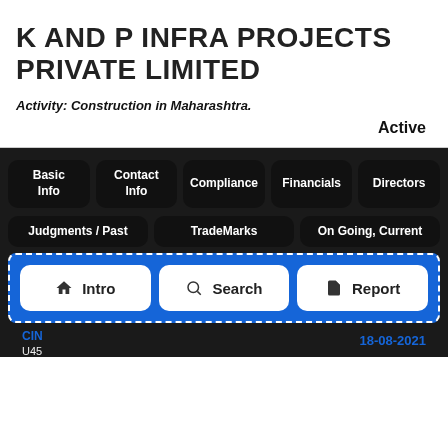K AND P INFRA PROJECTS PRIVATE LIMITED
Activity: Construction in Maharashtra.
Active
Basic Info
Contact Info
Compliance
Financials
Directors
Judgments / Past
TradeMarks
On Going, Current
Intro
Search
Report
CIN
U45
18-08-2021